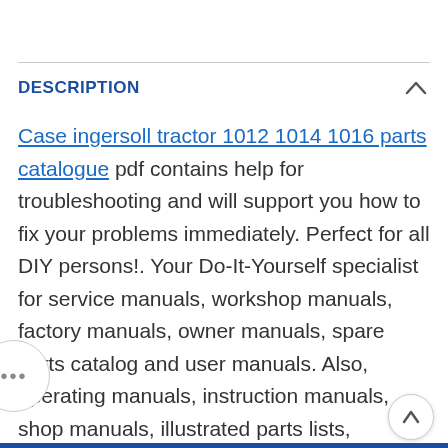DESCRIPTION
Case ingersoll tractor 1012 1014 1016 parts catalogue pdf contains help for troubleshooting and will support you how to fix your problems immediately. Perfect for all DIY persons!. Your Do-It-Yourself specialist for service manuals, workshop manuals, factory manuals, owner manuals, spare parts catalog and user manuals. Also, operating manuals, instruction manuals, shop manuals, illustrated parts lists, maintenance manuals, technical workshop manuals, and repair guide